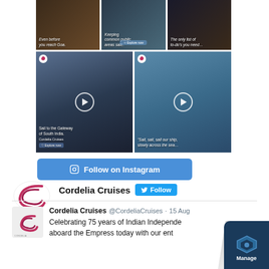[Figure (screenshot): Instagram grid showing 5 posts from Cordelia Cruises. Top row: 3 images with captions 'Even before you reach Goa.', 'Keeping common public areas safe.', 'The only list of to-do's you need...'. Bottom row: 2 taller video posts with texts 'Sail to the Gateway of South India. Cordelia Cruises' and '"Sail, sail, sail our ship, slowly across the sea..."']
[Figure (screenshot): Follow on Instagram button in blue]
[Figure (logo): Cordelia Cruises logo with stylized C in pink/magenta]
Cordelia Cruises Follow
Cordelia Cruises @CordeliaCruises · 15 Aug
Celebrating 75 years of Indian Independence aboard the Empress today with our ent